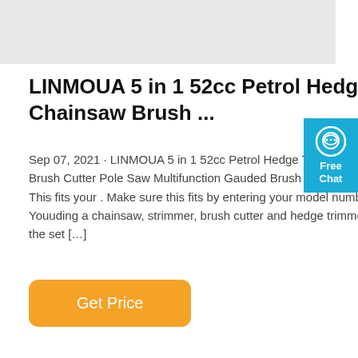[Figure (photo): Product image placeholder — light gray rectangle at top of page]
LINMOUA 5 in 1 52cc Petrol Hedge Trimmer Chainsaw Brush ...
Sep 07, 2021 · LINMOUA 5 in 1 52cc Petrol Hedge Trimmer Chainsaw Brush Cutter Pole Saw Multifunction Gauded Brush Cutter, Pruner, S... This fits your . Make sure this fits by entering your model number. Youuding a chainsaw, strimmer, brush cutter and hedge trimmer. Toplete the set […]
[Figure (other): Free Chat widget — teal/blue rectangle on right side with speech bubble icon and 'Free Chat' text]
Get Price